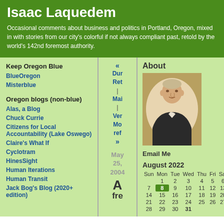Isaac Laquedem
Occasional comments about business and politics in Portland, Oregon, mixed in with stories from our city's colorful if not always compliant past, retold by the world's 142nd foremost authority.
Keep Oregon Blue
BlueOregon
Misterblue
Oregon blogs (non-blue)
Alas, a Blog
Chuck Currie
Citizens for Local Accountability (Lake Oswego)
Claire's What If
Cyclotram
HinesSight
Human Iterations
Human Transit
Jack Bog's Blog (2020+ edition)
« Dur Ret | Mai | Ver Mo ref »
May 25, 2004
A fre
About
[Figure (photo): Portrait painting of a 19th century man in formal attire, oval format]
Email Me
August 2022
| Sun | Mon | Tue | Wed | Thu | Fri | Sat |
| --- | --- | --- | --- | --- | --- | --- |
|  | 1 | 2 | 3 | 4 | 5 | 6 |
| 7 | 8 | 9 | 10 | 11 | 12 | 13 |
| 14 | 15 | 16 | 17 | 18 | 19 | 20 |
| 21 | 22 | 23 | 24 | 25 | 26 | 27 |
| 28 | 29 | 30 | 31 |  |  |  |